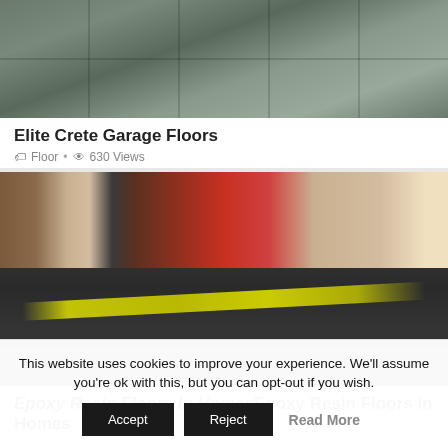[Figure (photo): Overhead view of a decorative concrete garage floor with a metallic or stained finish, showing grid pattern seams.]
Elite Crete Garage Floors
Floor · 630 Views
[Figure (photo): Interior of a garage or commercial space with dark epoxy-coated floor and yellow caution tape strung across the area.]
Epoxy Resin Floors In Homes
This website uses cookies to improve your experience. We'll assume you're ok with this, but you can opt-out if you wish.